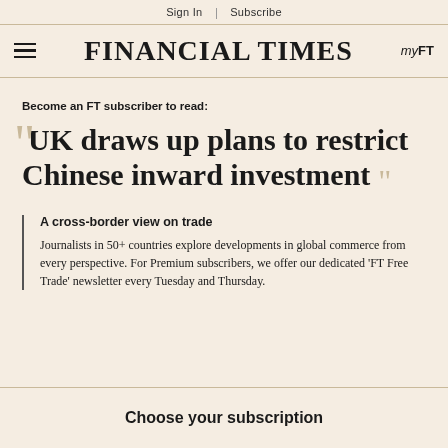Sign In | Subscribe
FINANCIAL TIMES
Become an FT subscriber to read:
UK draws up plans to restrict Chinese inward investment
A cross-border view on trade
Journalists in 50+ countries explore developments in global commerce from every perspective. For Premium subscribers, we offer our dedicated 'FT Free Trade' newsletter every Tuesday and Thursday.
Choose your subscription